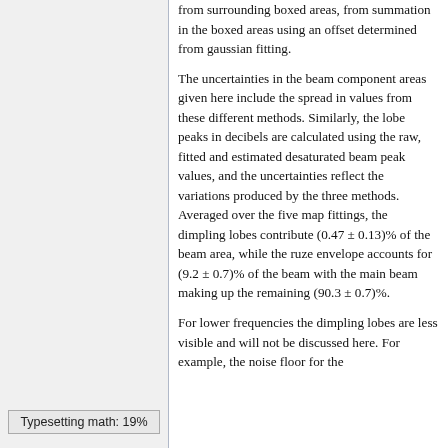from surrounding boxed areas, from summation in the boxed areas using an offset determined from gaussian fitting.
The uncertainties in the beam component areas given here include the spread in values from these different methods. Similarly, the lobe peaks in decibels are calculated using the raw, fitted and estimated desaturated beam peak values, and the uncertainties reflect the variations produced by the three methods. Averaged over the five map fittings, the dimpling lobes contribute (0.47 ± 0.13)% of the beam area, while the ruze envelope accounts for (9.2 ± 0.7)% of the beam with the main beam making up the remaining (90.3 ± 0.7)%.
For lower frequencies the dimpling lobes are less visible and will not be discussed here. For example, the noise floor for the
Typesetting math: 19%